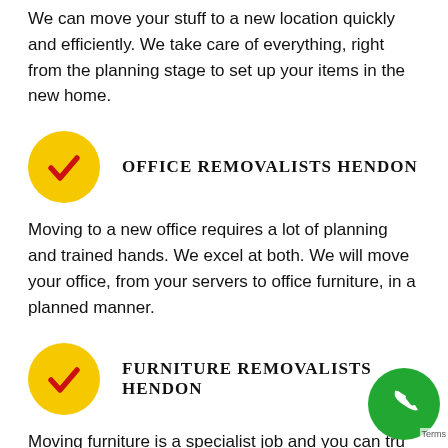We can move your stuff to a new location quickly and efficiently. We take care of everything, right from the planning stage to set up your items in the new home.
[Figure (illustration): Yellow circle with red checkmark icon]
OFFICE REMOVALISTS HENDON
Moving to a new office requires a lot of planning and trained hands. We excel at both. We will move your office, from your servers to office furniture, in a planned manner.
[Figure (illustration): Yellow circle with red checkmark icon]
FURNITURE REMOVALISTS HENDON
Moving furniture is a specialist job and you can trust removalists Hendon experts, who have received training in furniture removal, to take good care of your
[Figure (illustration): Green circle with white phone icon (call button)]